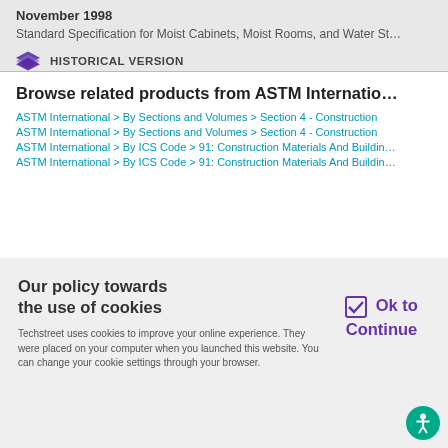November 1998
Standard Specification for Moist Cabinets, Moist Rooms, and Water St...
HISTORICAL VERSION
Browse related products from ASTM International
ASTM International > By Sections and Volumes > Section 4 - Construction
ASTM International > By Sections and Volumes > Section 4 - Construction
ASTM International > By ICS Code > 91: Construction Materials And Building
ASTM International > By ICS Code > 91: Construction Materials And Building
Our policy towards the use of cookies
Techstreet uses cookies to improve your online experience. They were placed on your computer when you launched this website. You can change your cookie settings through your browser.
Ok to Continue